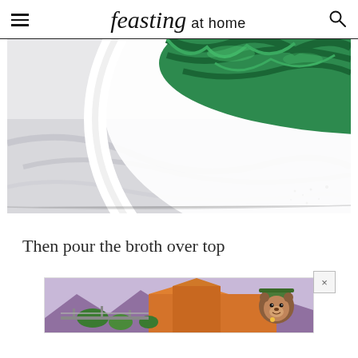feasting at home
[Figure (photo): Close-up photo of a white ceramic bowl with green leafy vegetables (cooked greens/spinach) on a white cloth/napkin surface, shot from above at an angle]
Then pour the broth over top
[Figure (illustration): Advertisement banner showing a scenic landscape with orange/red canyon rock formations, a bridge/railway, green trees, purple mountains, and a Smokey Bear character in a ranger hat on the right side]